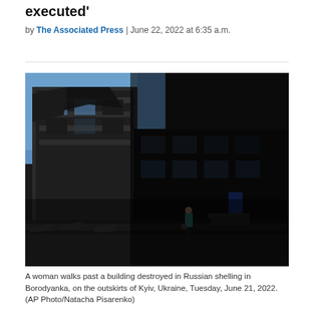executed'
by The Associated Press | June 22, 2022 at 6:35 a.m.
[Figure (photo): A woman walks past a large building destroyed in Russian shelling in Borodyanka, near Kyiv, Ukraine. The building is heavily damaged, with exposed floors, broken walls, and blackened rubble. A lone figure in a teal shirt stands in front of the ruins against a blue sky.]
A woman walks past a building destroyed in Russian shelling in Borodyanka, on the outskirts of Kyiv, Ukraine, Tuesday, June 21, 2022. (AP Photo/Natacha Pisarenko)